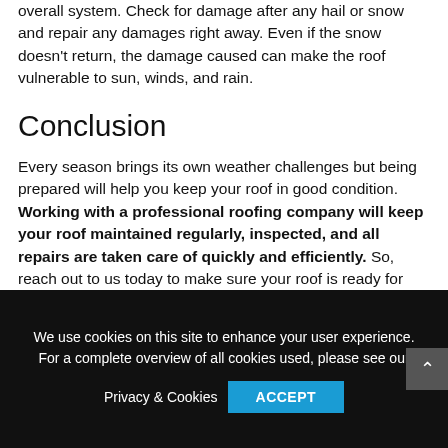overall system. Check for damage after any hail or snow and repair any damages right away. Even if the snow doesn't return, the damage caused can make the roof vulnerable to sun, winds, and rain.
Conclusion
Every season brings its own weather challenges but being prepared will help you keep your roof in good condition. Working with a professional roofing company will keep your roof maintained regularly, inspected, and all repairs are taken care of quickly and efficiently. So, reach out to us today to make sure your roof is ready for any weather coming its way.
We use cookies on this site to enhance your user experience. For a complete overview of all cookies used, please see our Privacy & Cookies  ACCEPT